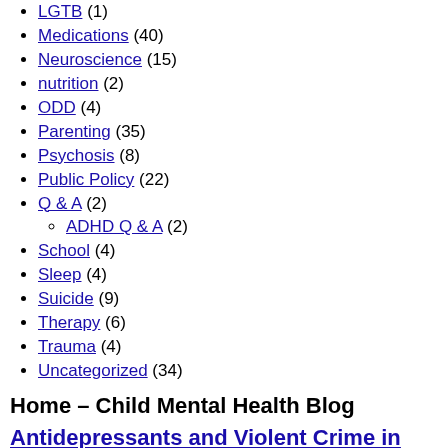LGTB (1)
Medications (40)
Neuroscience (15)
nutrition (2)
ODD (4)
Parenting (35)
Psychosis (8)
Public Policy (22)
Q & A (2)
ADHD Q & A (2)
School (4)
Sleep (4)
Suicide (9)
Therapy (6)
Trauma (4)
Uncategorized (34)
Home – Child Mental Health Blog
Antidepressants and Violent Crime in Youth
Antidepressants have carried a black box warning for years related to new or worsening suicidal behavior in children and young adults. A possible link, however, between SSRIs and other types of